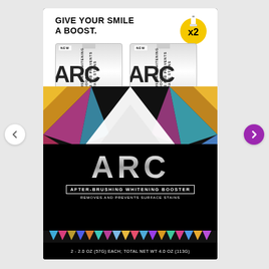[Figure (photo): ARC After-Brushing Whitening Booster product package showing two silver tubes in a black/white/holographic geometric box. Top reads 'GIVE YOUR SMILE A BOOST.' with an x2 badge. Center has colorful holographic diamond pattern with white V-shape. Bottom shows ARC logo in silver, 'AFTER-BRUSHING WHITENING BOOSTER', 'REMOVES AND PREVENTS SURFACE STAINS', and '2 - 2.0 OZ (57g) EACH; TOTAL NET WT 4.0 OZ (113g)'. Navigation arrows on left (white circle) and right (purple circle).]